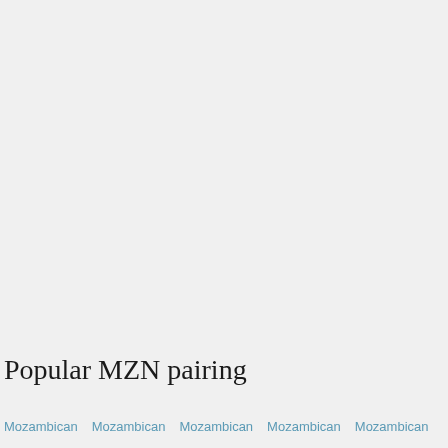Popular MZN pairing
Mozambican  Mozambican  Mozambican  Mozambican  Mozambican